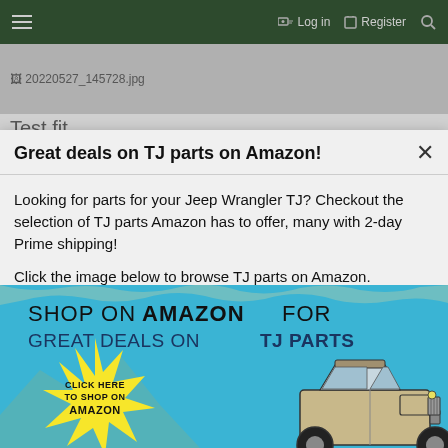≡  Log in  Register  🔍
[Figure (screenshot): Broken image placeholder showing filename 20220527_145728.jpg on gray background]
Test fit
Great deals on TJ parts on Amazon!
Looking for parts for your Jeep Wrangler TJ? Checkout the selection of TJ parts Amazon has to offer, many with 2-day Prime shipping!
Click the image below to browse TJ parts on Amazon.
[Figure (illustration): Amazon advertisement banner with blue background showing 'SHOP ON AMAZON FOR GREAT DEALS ON TJ PARTS', a yellow starburst with 'CLICK HERE TO SHOP ON AMAZON', and a cartoon Jeep Wrangler TJ illustration on the right]